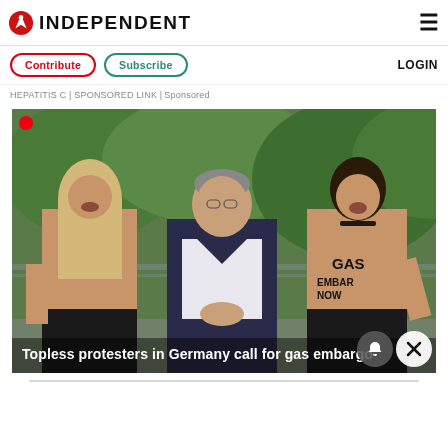INDEPENDENT
Contribute | Subscribe | LOGIN
HEPATITIS C | SPONSORED LINK | Sponsored
[Figure (photo): Three people outdoors: two topless female protesters shouting, with 'GAS EMBARGO NOW' written on one protester's body, flanking a man in a dark suit. Green trees visible in background. Overlay text reads: Topless protesters in Germany call for gas embargo]
Topless protesters in Germany call for gas embargo